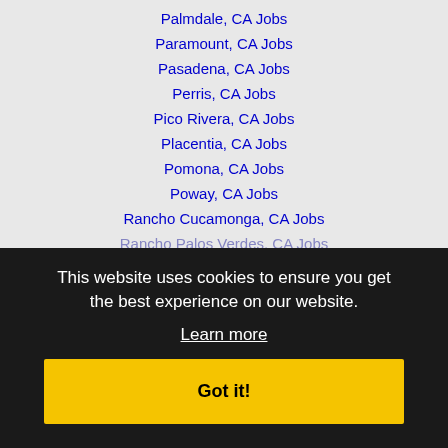Palmdale, CA Jobs
Paramount, CA Jobs
Pasadena, CA Jobs
Perris, CA Jobs
Pico Rivera, CA Jobs
Placentia, CA Jobs
Pomona, CA Jobs
Poway, CA Jobs
Rancho Cucamonga, CA Jobs
Rancho Palos Verdes, CA Jobs
Rancho Santa Margarita, CA Jobs
Redlands, CA Jobs
Redondo Beach, CA Jobs
Rialto, CA Jobs
Riverdale, CA Jobs
Rosemead, CA Jobs
Rowland Heights, CA Jobs
San Bernardino, CA Jobs
This website uses cookies to ensure you get the best experience on our website.
Learn more
Got it!